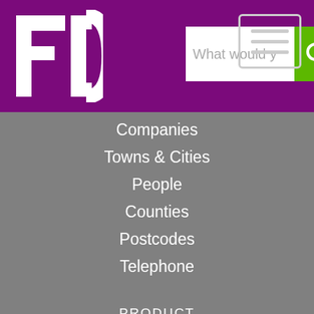[Figure (logo): FD logo — white letters F and D on purple background]
What would y
Companies
Towns & Cities
People
Counties
Postcodes
Telephone
PRODUCT
About (tour)
Get listed for free
Testimonials
Promotion
COMPANY